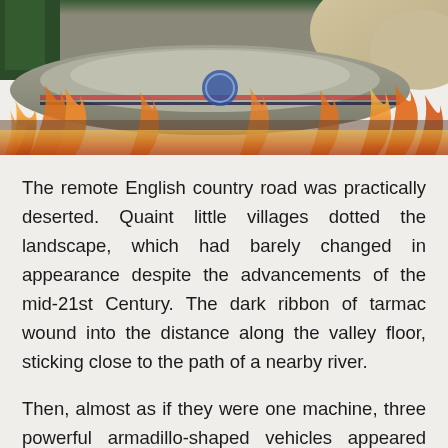[Figure (photo): A futuristic armadillo-shaped vehicle surrounded by flames on an English country road. The vehicle is grey and armoured with a circular logo on its side. Flames engulf the foreground and background shows trees and rocky terrain.]
The remote English country road was practically deserted. Quaint little villages dotted the landscape, which had barely changed in appearance despite the advancements of the mid-21st Century. The dark ribbon of tarmac wound into the distance along the valley floor, sticking close to the path of a nearby river.
Then, almost as if they were one machine, three powerful armadillo-shaped vehicles appeared from a heavily forested woodland beside the road and turned onto the road heading west. The futuristic grey armoured shapes looked totally incongruous in the middle of the peaceful landscape, as if th